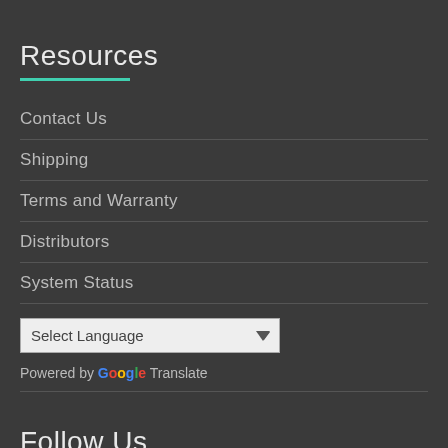Resources
Contact Us
Shipping
Terms and Warranty
Distributors
System Status
Select Language
Powered by Google Translate
Follow Us
[Figure (illustration): Social media icons: email, Facebook, GitHub, RSS, Twitter, YouTube]